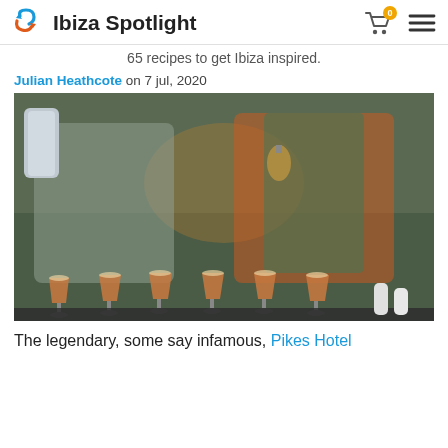Ibiza Spotlight
65 recipes to get Ibiza inspired.
Julian Heathcote on 7 jul, 2020
[Figure (photo): Two bartenders wearing face masks preparing cocktails, pouring into a row of six coupe glasses filled with an orange-brown liquid, at what appears to be a bar at Pikes Hotel Ibiza]
The legendary, some say infamous, Pikes Hotel